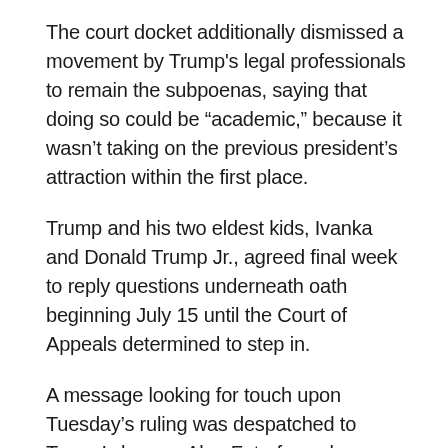The court docket additionally dismissed a movement by Trump's legal professionals to remain the subpoenas, saying that doing so could be “academic,” because it wasn’t taking on the previous president’s attraction within the first place.
Trump and his two eldest kids, Ivanka and Donald Trump Jr., agreed final week to reply questions underneath oath beginning July 15 until the Court of Appeals determined to step in.
A message looking for touch upon Tuesday’s ruling was despatched to Trump’s lawyer. Alan Futerfas, a lawyer for Ivanka and Donald Trump Jr., declined remark. A message was additionally left with a spokesperson for Attorney General Letitia James.